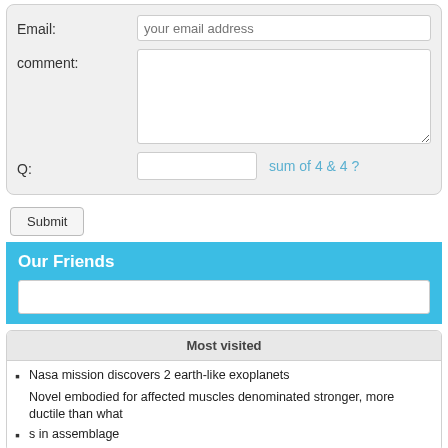Email:
comment:
Q:
sum of 4 & 4 ?
Submit
Our Friends
Most visited
Nasa mission discovers 2 earth-like exoplanets
Novel embodied for affected muscles denominated stronger, more ductile than what
s in assemblage